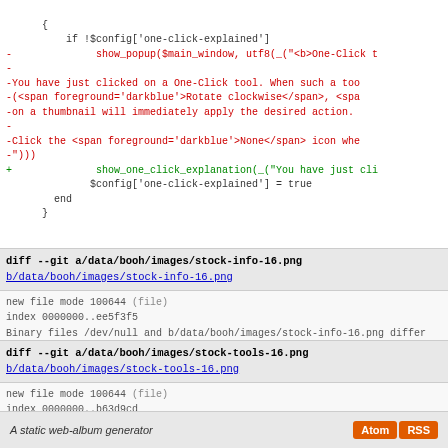one_click_explain_try = Proc.new {
        if !$config['one-click-explained']
-              show_popup($main_window, utf8(_("<b>One-Click t
-
-You have just clicked on a One-Click tool. When such a too
-(<span foreground='darkblue'>Rotate clockwise</span>, <spa
-on a thumbnail will immediately apply the desired action.
-
-Click the <span foreground='darkblue'>None</span> icon whe
-")))
+              show_one_click_explanation(_("You have just cl
              $config['one-click-explained'] = true
        end
      }
diff --git a/data/booh/images/stock-info-16.png
b/data/booh/images/stock-info-16.png
new file mode 100644 (file)
index 0000000..ee5f3f5
Binary files /dev/null and b/data/booh/images/stock-info-16.png differ
diff --git a/data/booh/images/stock-tools-16.png
b/data/booh/images/stock-tools-16.png
new file mode 100644 (file)
index 0000000..b63d9cd
Binary files /dev/null and b/data/booh/images/stock-tools-16.png differ
A static web-album generator  Atom  RSS